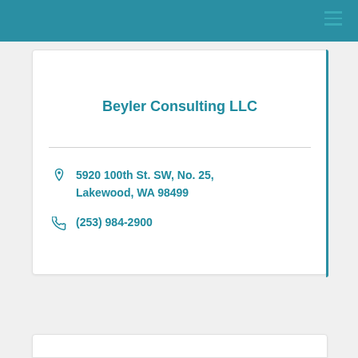Beyler Consulting LLC
5920 100th St. SW, No. 25, Lakewood, WA 98499
(253) 984-2900